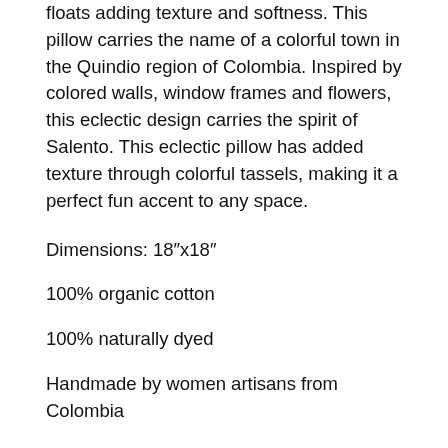floats adding texture and softness. This pillow carries the name of a colorful town in the Quindio region of Colombia. Inspired by colored walls, window frames and flowers, this eclectic design carries the spirit of Salento. This eclectic pillow has added texture through colorful tassels, making it a perfect fun accent to any space.
Dimensions: 18” x18”
100% organic cotton
100% naturally dyed
Handmade by women artisans from Colombia
DOES NOT INCLUDE INSERT
ABOUT THE BRAND
Zuahaza means “my sister” in the Muisca language of the people who lived in the Cundiboyacense mountain region